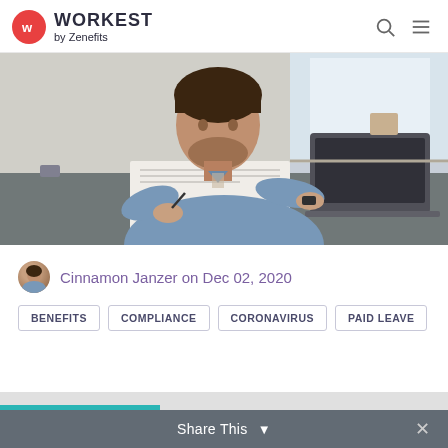WORKEST by Zenefits
[Figure (photo): Man in blue shirt sitting at desk writing in notebook with laptop open in front of him, home office setting with window in background]
Cinnamon Janzer on Dec 02, 2020
BENEFITS
COMPLIANCE
CORONAVIRUS
PAID LEAVE
Share This